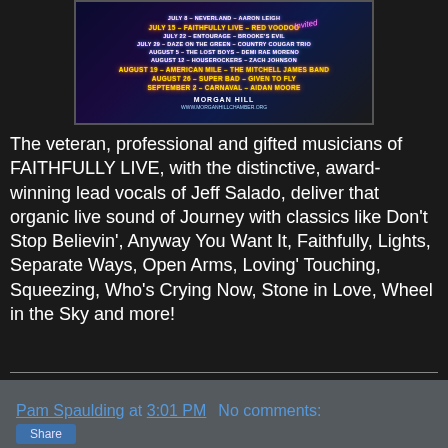[Figure (photo): Promotional concert poster for Morgan Hill Chamber of Commerce summer concert series listing dates and band names including Faithfully Live, The Lost Boys, Houserockers, American Mile, Super Bad, Carnaval, and others. Blue/purple neon themed design with Morgan Hill Chamber of Commerce branding and website www.morganhillchamber.org]
The veteran, professional and gifted musicians of FAITHFULLY LIVE, with the distinctive, award-winning lead vocals of Jeff Salado, deliver that organic live sound of Journey with classics like Don't Stop Believin', Anyway You Want It, Faithfully, Lights, Separate Ways, Open Arms, Loving' Touching, Squeezing, Who's Crying Now, Stone in Love, Wheel in the Sky and more!
Disclaimer: Faithfully Live featuring Jeff Salado is not affiliated with, nor endorsed by the band Journey or any of its members.
Faithfully Entertainment, LLC, All rights reserved.
Pam Spaulding at 3:01 PM   No comments: